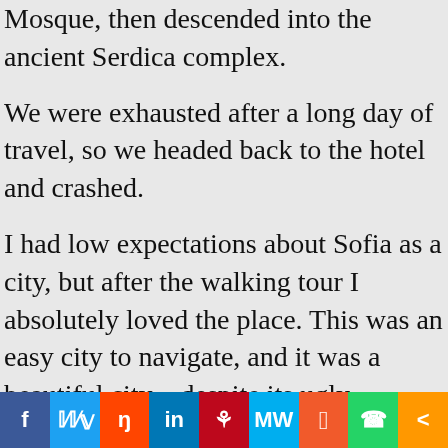Mosque, then descended into the ancient Serdica complex.
We were exhausted after a long day of travel, so we headed back to the hotel and crashed.
I had low expectations about Sofia as a city, but after the walking tour I absolutely loved the place. This was an easy city to navigate, and it was a beautiful city – despite its ugly,
[Figure (other): Social sharing bar with icons for Facebook, Twitter, Reddit, LinkedIn, Pinterest, MeWe, Mix, WhatsApp, and Share]